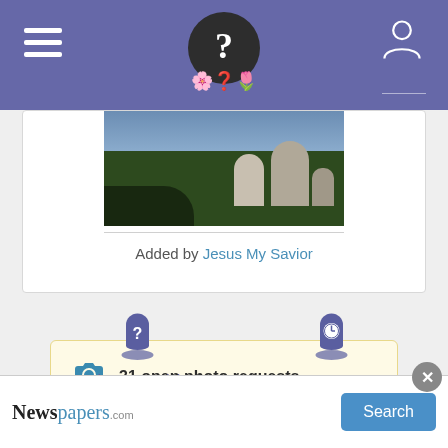FindAGrave mobile app header with hamburger menu, logo, and user icon
[Figure (photo): Cemetery photo showing gravestones on green grass]
Added by Jesus My Savior
31 open photo requests.
[Figure (illustration): View Memorials icon - memorial with question mark]
[Figure (illustration): Recent icon - memorial with clock]
Newspapers.com advertisement with Search button